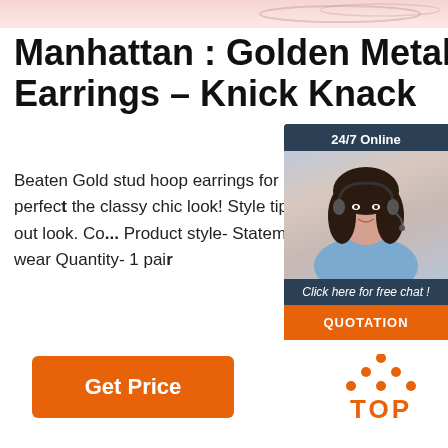[Figure (illustration): Top pink/rose banner strip with jewelry chain visible]
Manhattan : Golden Metallic Earrings – Knick Knac...
Beaten Gold stud hoop earrings for glam nights! This fashion accessory is perfect the classy chic look! Style tip- Pair them classy LBD for a chic night-out look. Co... Product style- Statement earrings Best ... Day wear, Evening wear Quantity- 1 pai...
[Figure (illustration): 24/7 Online chat widget with woman wearing headset, dark blue background, orange QUOTATION button]
[Figure (illustration): Get Price orange button]
[Figure (logo): Orange TOP logo with dots arranged as upward arrow above the word TOP]